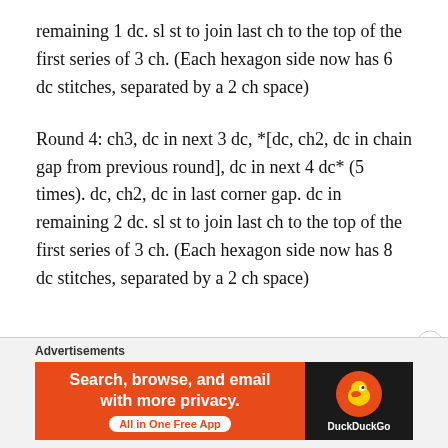remaining 1 dc. sl st to join last ch to the top of the first series of 3 ch. (Each hexagon side now has 6 dc stitches, separated by a 2 ch space)
Round 4: ch3, dc in next 3 dc, *[dc, ch2, dc in chain gap from previous round], dc in next 4 dc* (5 times). dc, ch2, dc in last corner gap. dc in remaining 2 dc. sl st to join last ch to the top of the first series of 3 ch. (Each hexagon side now has 8 dc stitches, separated by a 2 ch space)
Advertisements